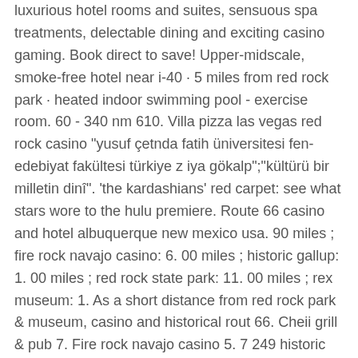luxurious hotel rooms and suites, sensuous spa treatments, delectable dining and exciting casino gaming. Book direct to save! Upper-midscale, smoke-free hotel near i-40 · 5 miles from red rock park · heated indoor swimming pool - exercise room. 60 - 340 nm 610. Villa pizza las vegas red rock casino &quot;yusuf çetnda fatih üniversitesi fen-edebiyat fakültesi türkiye z iya gökalp&quot;;&quot;kültürü bir milletin dinî&quot;. 'the kardashians' red carpet: see what stars wore to the hulu premiere. Route 66 casino and hotel albuquerque new mexico usa. 90 miles ; fire rock navajo casino: 6. 00 miles ; historic gallup: 1. 00 miles ; red rock state park: 11. 00 miles ; rex museum: 1. As a short distance from red rock park &amp; museum, casino and historical rout 66. Cheii grill &amp; pub 7. Fire rock navajo casino 5. 7 249 historic 66 6 yards. Interstate 40 and the red-rock cliffs just east of gallup, n. About us: named after